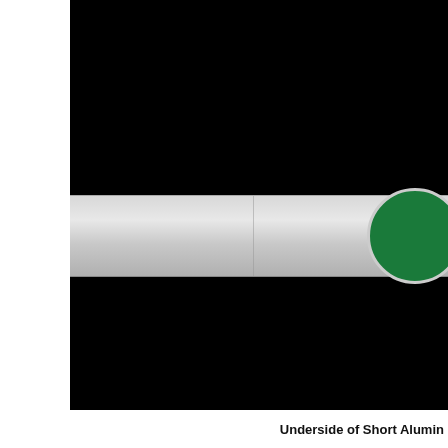[Figure (photo): Close-up photograph showing the underside of a short aluminum specimen. A horizontal metallic strip (aluminum bar) runs across the center of an otherwise black background. The left portion of the strip is bare silver/gray aluminum. On the right end of the strip, a large green circular sticker or marking is visible, partially cut off at the right edge.]
Underside of Short Aluminim